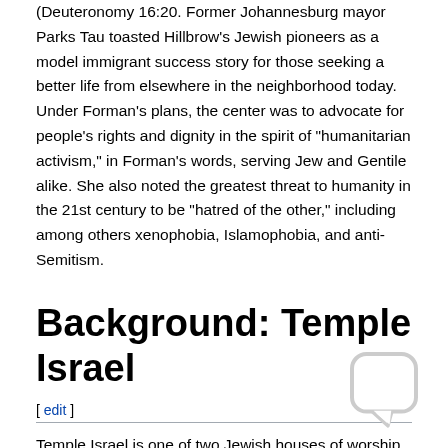(Deuteronomy 16:20. Former Johannesburg mayor Parks Tau toasted Hillbrow's Jewish pioneers as a model immigrant success story for those seeking a better life from elsewhere in the neighborhood today. Under Forman's plans, the center was to advocate for people's rights and dignity in the spirit of "humanitarian activism," in Forman's words, serving Jew and Gentile alike. She also noted the greatest threat to humanity in the 21st century to be "hatred of the other," including among others xenophobia, Islamophobia, and anti-Semitism.
Background: Temple Israel
[ edit ]
Temple Israel is one of two Jewish houses of worship in the downtown and environs of Johannesburg - the other being the Orthodox Jewish Doornfontein synagogue (known as Lions Shul) - after others followed their congregation